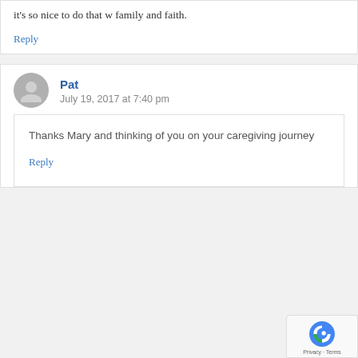it's so nice to do that w family and faith.
Reply
Pat
July 19, 2017 at 7:40 pm
Thanks Mary and thinking of you on your caregiving journey
Reply